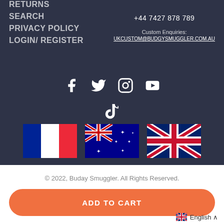RETURNS
SEARCH
PRIVACY POLICY
LOGIN/ REGISTER
+44 7427 878 789
Custom Enquiries:
UKCUSTOM@BUDGYSMUGGLER.COM.AU
[Figure (infographic): Social media icons: Facebook, Twitter, Instagram, YouTube, TikTok]
[Figure (infographic): Three country flag icons: France, Australia, United Kingdom]
© 2022, Buday Smuggler. All Rights Reserved.
ADD TO CART
English